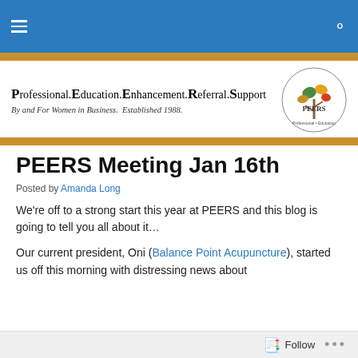Navigation bar with hamburger menu and search icon
[Figure (logo): PEERS logo with tree illustration and text: Professional.Education.Enhancement.Referral.Support - By and For Women in Business. Established 1988.]
PEERS Meeting Jan 16th
Posted by Amanda Long
We're off to a strong start this year at PEERS and this blog is going to tell you all about it…
Our current president, Oni (Balance Point Acupuncture), started us off this morning with distressing news about
Follow ...